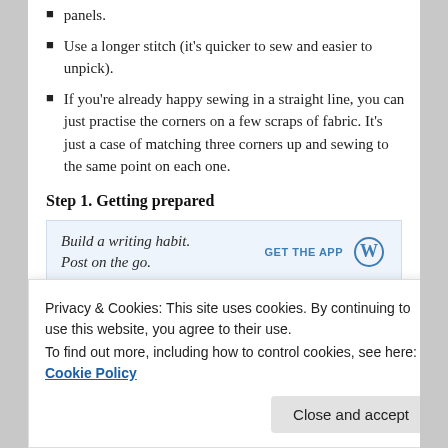panels.
Use a longer stitch (it's quicker to sew and easier to unpick).
If you're already happy sewing in a straight line, you can just practise the corners on a few scraps of fabric. It's just a case of matching three corners up and sewing to the same point on each one.
Step 1. Getting prepared
[Figure (screenshot): WordPress advertisement banner: 'Build a writing habit. Post on the go.' with 'GET THE APP' button and WordPress logo]
Privacy & Cookies: This site uses cookies. By continuing to use this website, you agree to their use. To find out more, including how to control cookies, see here: Cookie Policy